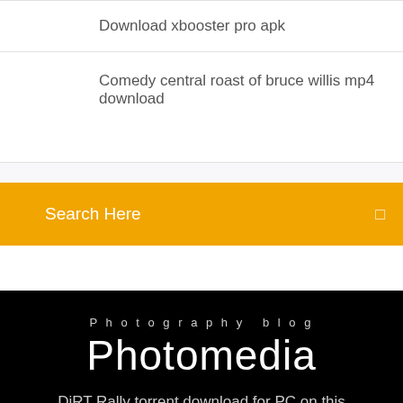Download xbooster pro apk
Comedy central roast of bruce willis mp4 download
Search Here
Photography blog
Photomedia
DiRT Rally torrent download for PC on this webpage,